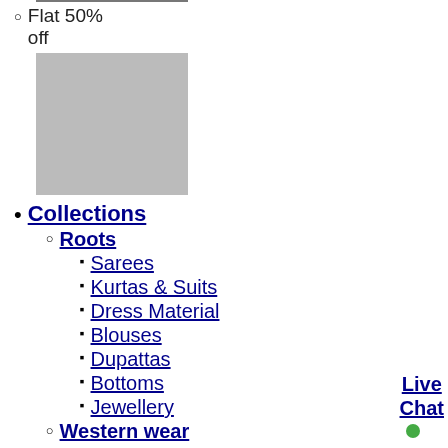Flat 50% off
[Figure (illustration): Gray placeholder image block]
Collections
Roots
Sarees
Kurtas & Suits
Dress Material
Blouses
Dupattas
Bottoms
Jewellery
Western wear
Tops
Dresses
Tunics
Gowns
Live Chat